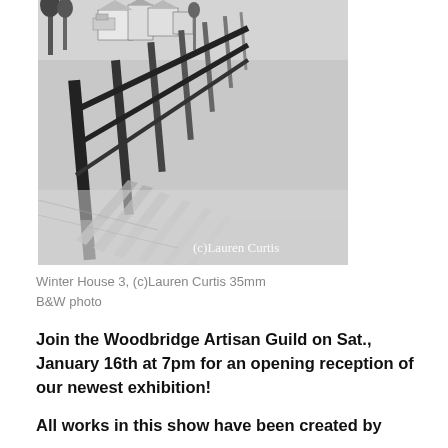[Figure (photo): Black and white photograph of a wooden fence receding diagonally into the distance, casting long shadows on snowy or light-colored ground. Houses visible in the background. Copyright watermark '(c)Lauren Curtis' in the bottom-right of the photo.]
Winter House 3, (c)Lauren Curtis 35mm B&W photo
Join the Woodbridge Artisan Guild on Sat., January 16th at 7pm for an opening reception of our newest exhibition!
All works in this show have been created by